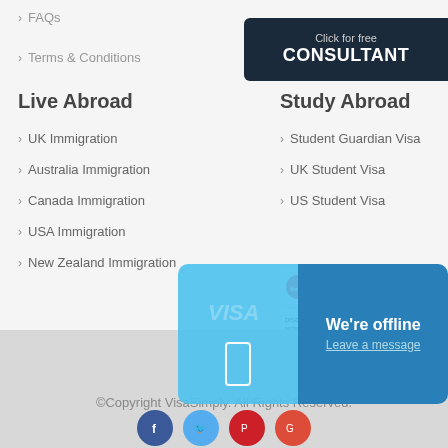FAQs
Terms & Conditions
[Figure (screenshot): Dark navy button with text 'Click for free CONSULTANT']
Live Abroad
UK Immigration
Australia Immigration
Canada Immigration
USA Immigration
New Zealand Immigration
Study Abroad
Student Guardian Visa
UK Student Visa
US Student Visa
[Figure (illustration): Payment card logos: MasterCard, VISA, American Express, Discover]
[Figure (screenshot): Chat widget showing 'We're offline - Leave a message' in blue]
©Copyright VisaSimply. All Rights Reserved.